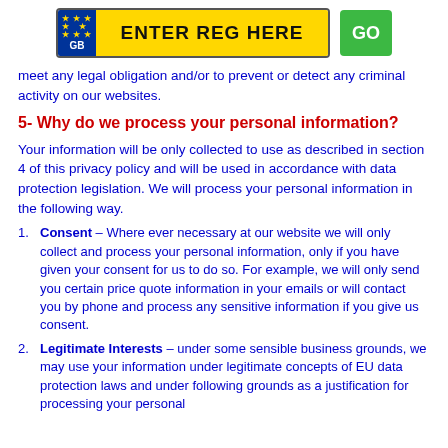[Figure (other): UK vehicle registration plate input bar with GB/EU flag on left, yellow plate reading ENTER REG HERE, and green GO button on right]
meet any legal obligation and/or to prevent or detect any criminal activity on our websites.
5- Why do we process your personal information?
Your information will be only collected to use as described in section 4 of this privacy policy and will be used in accordance with data protection legislation. We will process your personal information in the following way.
Consent – Where ever necessary at our website we will only collect and process your personal information, only if you have given your consent for us to do so. For example, we will only send you certain price quote information in your emails or will contact you by phone and process any sensitive information if you give us consent.
Legitimate Interests – under some sensible business grounds, we may use your information under legitimate concepts of EU data protection laws and under following grounds as a justification for processing your personal